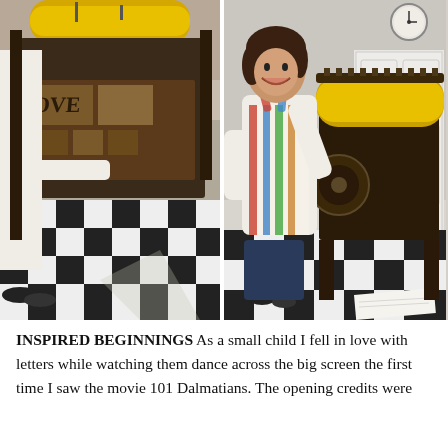[Figure (photo): Left photo: A person in a white shirt operating a vintage letterpress printing machine with wooden type blocks, on a black and white checkered floor. The press has a large yellow roller visible at top.]
[Figure (photo): Right photo: A smiling woman wearing a colorful striped apron standing next to a vintage letterpress machine with a yellow roller, in a room with a wall clock, white door, and black and white checkered floor.]
INSPIRED BEGINNINGS As a small child I fell in love with letters while watching them dance across the big screen the first time I saw the movie 101 Dalmatians. The opening credits were